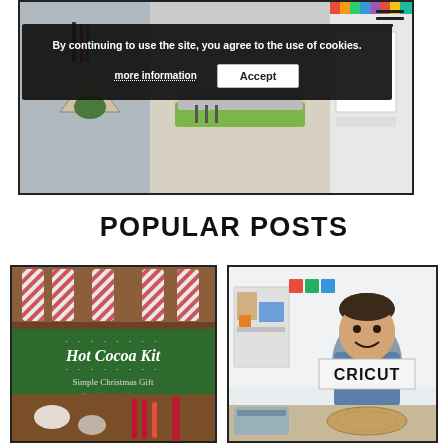[Figure (photo): Website banner image showing a craft workspace with plants, a Cricut cutting machine, and desk items. A cookie consent banner overlays the image.]
By continuing to use the site, you agree to the use of cookies.
more information
Accept
POPULAR POSTS
[Figure (photo): Hot Cocoa Kit Simple Christmas Gift - image showing candy canes, hot cocoa ingredients with a green banner overlay]
[Figure (photo): Boy holding a Cricut sign at a table with a Cricut machine visible]